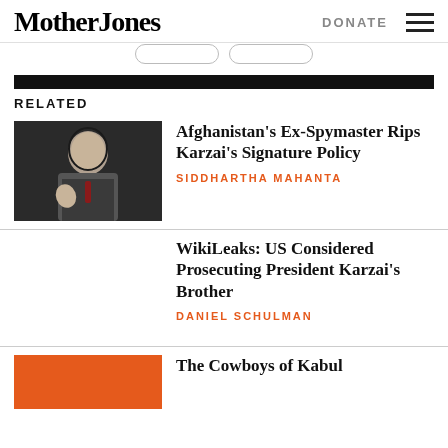Mother Jones | DONATE
RELATED
Afghanistan’s Ex-Spymaster Rips Karzai’s Signature Policy
SIDDHARTHA MAHANTA
WikiLeaks: US Considered Prosecuting President Karzai’s Brother
DANIEL SCHULMAN
The Cowboys of Kabul